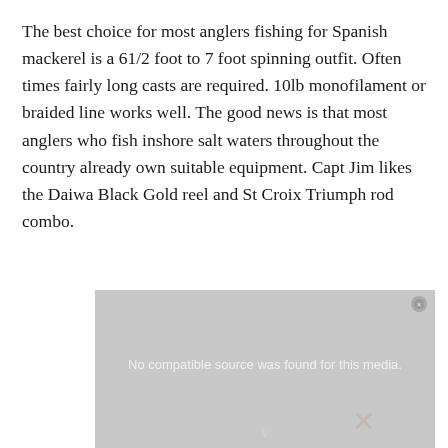The best choice for most anglers fishing for Spanish mackerel is a 61/2 foot to 7 foot spinning outfit. Often times fairly long casts are required. 10lb monofilament or braided line works well. The good news is that most anglers who fish inshore salt waters throughout the country already own suitable equipment. Capt Jim likes the Daiwa Black Gold reel and St Croix Triumph rod combo.
[Figure (other): Video player placeholder showing 'No compatible source was found for this media.' with a grey background and an X button]